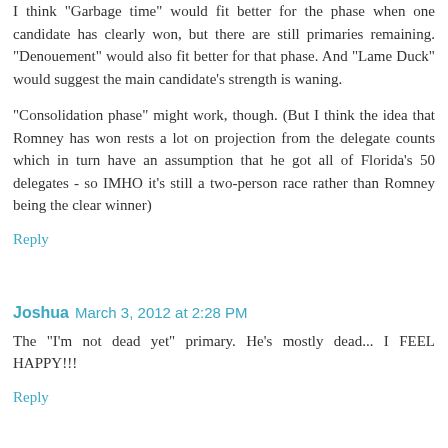I think "Garbage time" would fit better for the phase when one candidate has clearly won, but there are still primaries remaining. "Denouement" would also fit better for that phase. And "Lame Duck" would suggest the main candidate's strength is waning.
"Consolidation phase" might work, though. (But I think the idea that Romney has won rests a lot on projection from the delegate counts which in turn have an assumption that he got all of Florida's 50 delegates - so IMHO it's still a two-person race rather than Romney being the clear winner)
Reply
Joshua  March 3, 2012 at 2:28 PM
The "I'm not dead yet" primary. He's mostly dead... I FEEL HAPPY!!!
Reply
Anonymous  March 3, 2012 at 9:10 PM